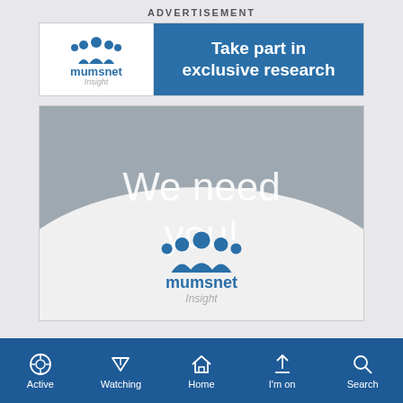ADVERTISEMENT
[Figure (logo): Mumsnet Insight banner advertisement with logo on left and 'Take part in exclusive research' text on blue background]
[Figure (illustration): Main advertisement box with grey upper half containing 'We need you!' text in white and white lower half with Mumsnet Insight logo]
Active  Watching  Home  I'm on  Search